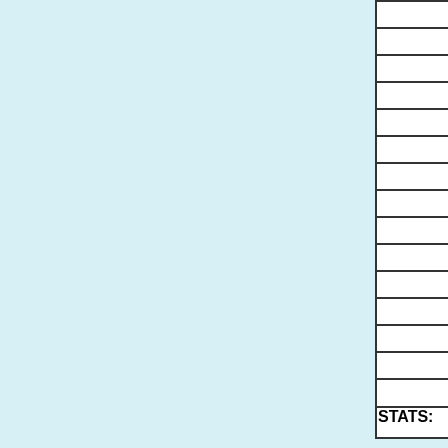| Category | Value |
| --- | --- |
| W6 |  |
| W7 |  |
| W8 |  |
| W9 |  |
| W0 |  |
| Canada |  |
| DX | - |
| Key Categories |  |
| Top Straight Key Scorer (x2) |  |
| Top Bug Scorer (x1.5) |  |
| Top Keyer/Other Scorer (x1) |  |
| Other Categories |  |
| Gain |  |
| First time entrant high scorer |  |
| PRIZE(S) |  |
| Paddle/bug handle - K1/K2 knob insert drawing |  |
STATS: